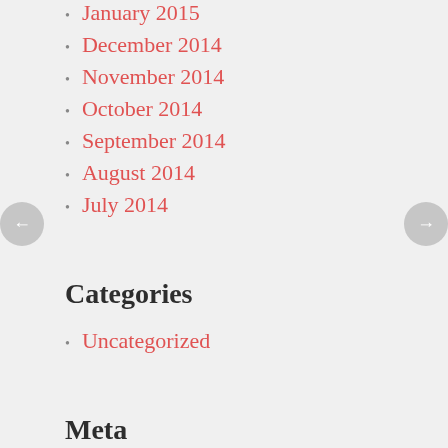January 2015
December 2014
November 2014
October 2014
September 2014
August 2014
July 2014
Categories
Uncategorized
Meta
Register